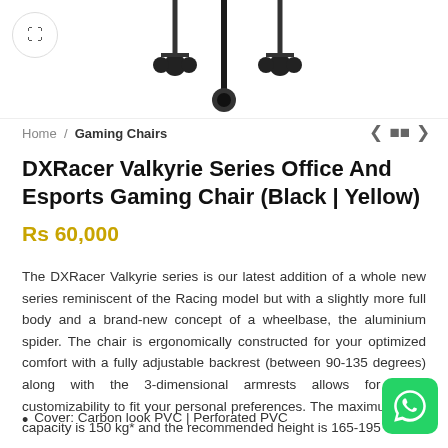[Figure (photo): Product images of DXRacer Valkyrie gaming chair components (wheels/casters) shown at top of page, with expand icon button]
Home / Gaming Chairs
DXRacer Valkyrie Series Office And Esports Gaming Chair (Black | Yellow)
Rs 60,000
The DXRacer Valkyrie series is our latest addition of a whole new series reminiscent of the Racing model but with a slightly more full body and a brand-new concept of a wheelbase, the aluminium spider. The chair is ergonomically constructed for your optimized comfort with a fully adjustable backrest (between 90-135 degrees) along with the 3-dimensional armrests allows for extra customizability to fit your personal preferences. The maximum load capacity is 150 kg* and the recommended height is 165-195 cm.
Cover: Carbon look PVC | Perforated PVC
[Figure (logo): WhatsApp button icon (green rounded square with WhatsApp logo)]